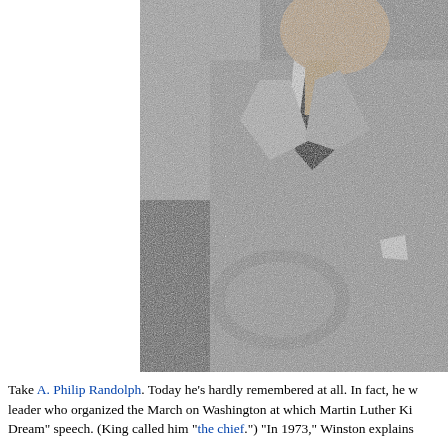[Figure (photo): Black and white photograph of a man in a checked/houndstooth jacket with a dark tie and white shirt, seated, photographed from about chest level upward, with face partially out of frame at top.]
Take A. Philip Randolph. Today he's hardly remembered at all. In fact, he w leader who organized the March on Washington at which Martin Luther Ki Dream" speech. (King called him "the chief.") "In 1973," Winston explains